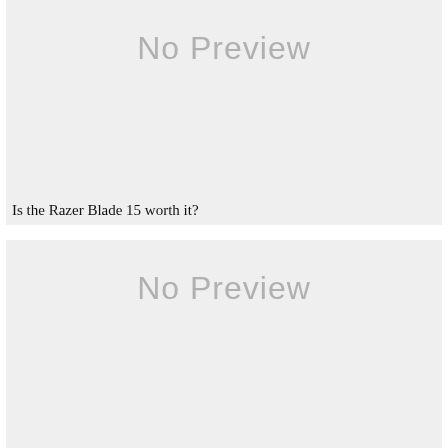[Figure (other): No Preview placeholder image box (gray background with 'No Preview' text)]
Is the Razer Blade 15 worth it?
[Figure (other): No Preview placeholder image box (gray background with 'No Preview' text)]